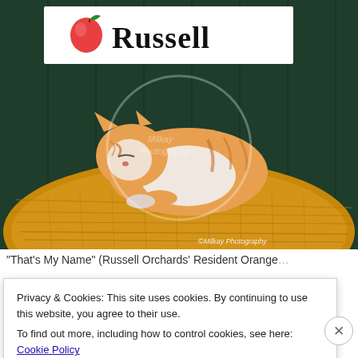[Figure (photo): An orange and white cat resting on a hay bale in front of a sign reading 'Russell' with an apple logo. Watermark reads 'Milkay Photography'. Copyright text bottom right: '© Milkay Photography'.]
“That’s My Name” (Russell Orchards’ Resident Orange…
Privacy & Cookies: This site uses cookies. By continuing to use this website, you agree to their use.
To find out more, including how to control cookies, see here: Cookie Policy
Close and accept